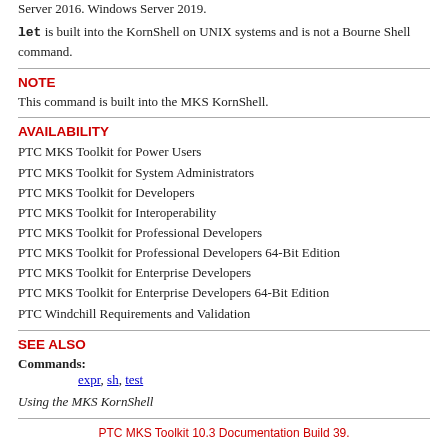Server 2016. Windows Server 2019.
let is built into the KornShell on UNIX systems and is not a Bourne Shell command.
NOTE
This command is built into the MKS KornShell.
AVAILABILITY
PTC MKS Toolkit for Power Users
PTC MKS Toolkit for System Administrators
PTC MKS Toolkit for Developers
PTC MKS Toolkit for Interoperability
PTC MKS Toolkit for Professional Developers
PTC MKS Toolkit for Professional Developers 64-Bit Edition
PTC MKS Toolkit for Enterprise Developers
PTC MKS Toolkit for Enterprise Developers 64-Bit Edition
PTC Windchill Requirements and Validation
SEE ALSO
Commands: expr, sh, test
Using the MKS KornShell
PTC MKS Toolkit 10.3 Documentation Build 39.